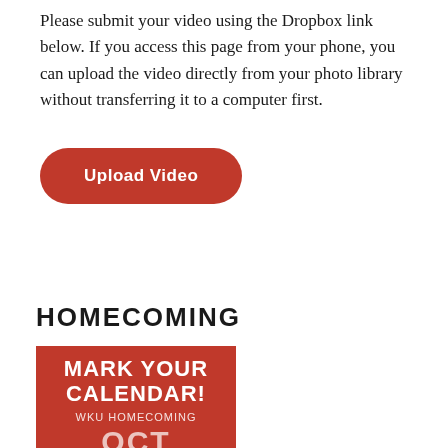Please submit your video using the Dropbox link below. If you access this page from your phone, you can upload the video directly from your photo library without transferring it to a computer first.
[Figure (other): Red rounded-rectangle button with white bold text reading 'Upload Video']
HOMECOMING
[Figure (infographic): Red square promotional image for WKU Homecoming with text 'MARK YOUR CALENDAR! WKU HOMECOMING' and partially visible large date numbers at the bottom]